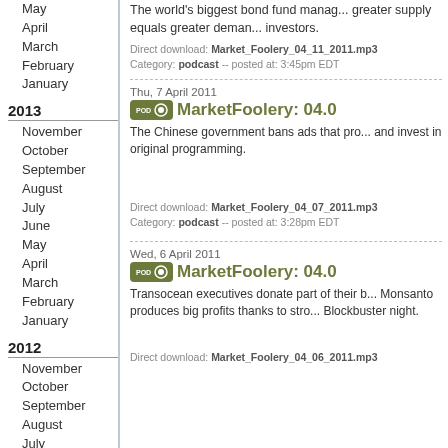May
April
March
February
January
2013
November
October
September
August
July
June
May
April
March
February
January
2012
November
October
September
August
July
June
May
April
March
February
January
The world's biggest bond fund manag... greater supply equals greater deman... investors.
Direct download: Market_Foolery_04_11_2011.mp3
Category: podcast -- posted at: 3:45pm EDT
Thu, 7 April 2011
MarketFoolery: 04.0...
The Chinese government bans ads that pro... and invest in original programming.
Direct download: Market_Foolery_04_07_2011.mp3
Category: podcast -- posted at: 3:28pm EDT
Wed, 6 April 2011
MarketFoolery: 04.0...
Transocean executives donate part of their b... Monsanto produces big profits thanks to stro... Blockbuster night.
Direct download: Market_Foolery_04_06_2011.mp3